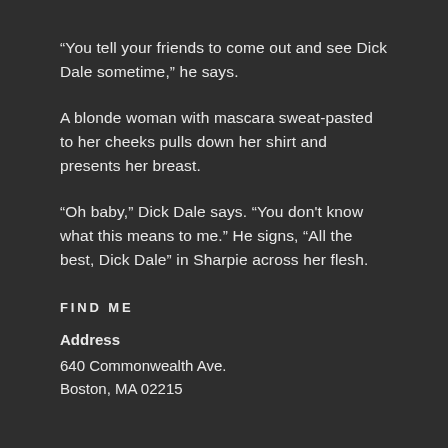“You tell your friends to come out and see Dick Dale sometime,” he says.
A blonde woman with mascara sweat-pasted to her cheeks pulls down her shirt and presents her breast.
“Oh baby,” Dick Dale says. “You don’t know what this means to me.” He signs, “All the best, Dick Dale” in Sharpie across her flesh.
FIND ME
Address
640 Commonwealth Ave.
Boston, MA 02215